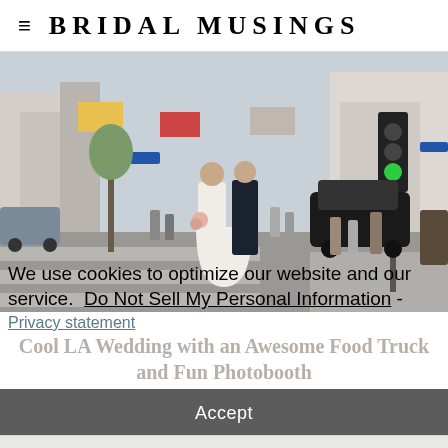BRIDAL MUSINGS
[Figure (photo): Wedding couple standing in the middle of a busy LA street crosswalk, bride in white dress holding bouquet, groom in dark suit, urban street scene with buildings and traffic signal in background]
We use cookies to optimize our website and our service.  Do Not Sell My Personal Information - Privacy statement
Cool LA Wedding with an Awesome Food Truck and Fun Photobooth
Accept
CHIC WEDDINGS